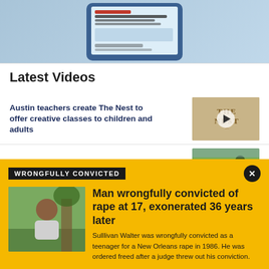[Figure (photo): Smartphone displaying a news app with coronavirus hospitalization headlines on a blue background]
Latest Videos
Austin teachers create The Nest to offer creative classes to children and adults
[Figure (photo): Thumbnail for video: THE NEST sign with play button overlay]
Keeping Score: Central Texas Archery
[Figure (photo): Thumbnail for archery video with play button overlay]
WRONGFULLY CONVICTED
[Figure (photo): Photo of a man standing in front of a tree outdoors]
Man wrongfully convicted of rape at 17, exonerated 36 years later
Sulllivan Walter was wrongfully convicted as a teenager for a New Orleans rape in 1986. He was ordered freed after a judge threw out his conviction.